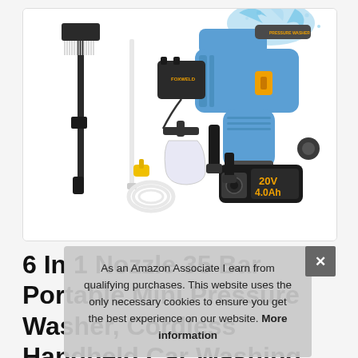[Figure (photo): Product photo of a cordless pressure washer (blue and black gun-style washer with orange trigger, 20V 4.0Ah battery) shown with accessories: brush attachment, extension wand, charger, foam cannon with hose, nozzle tips, and yellow hose connector, on a white background.]
6 In 1 Nozzle 35 Bar Portable Mini Pressure Washer, Cordless Handheld Car Washing Machine, Watering Flowers, Cleaning Floors, Cordless
As an Amazon Associate I earn from qualifying purchases. This website uses the only necessary cookies to ensure you get the best experience on our website. More information